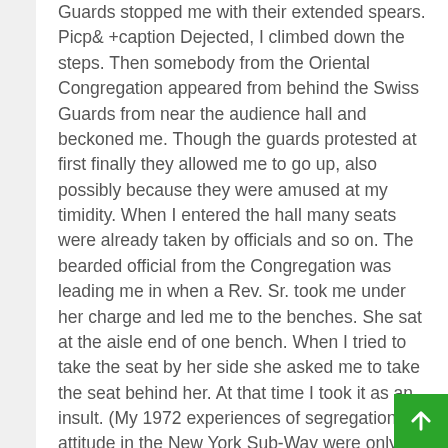Guards stopped me with their extended spears. Picp& +caption Dejected, I climbed down the steps. Then somebody from the Oriental Congregation appeared from behind the Swiss Guards from near the audience hall and beckoned me. Though the guards protested at first finally they allowed me to go up, also possibly because they were amused at my timidity. When I entered the hall many seats were already taken by officials and so on. The bearded official from the Congregation was leading me in when a Rev. Sr. took me under her charge and led me to the benches. She sat at the aisle end of one bench. When I tried to take the seat by her side she asked me to take the seat behind her. At that time I took it as an insult. (My 1972 experiences of segregationist attitude in the New York Sub-Way were only too strong in my mind.) But she only smiled. She was the official on Radio Vatican who was in charge of all the Polish programmes, and as such was very familiar with the new Pope as he used to give many talks to